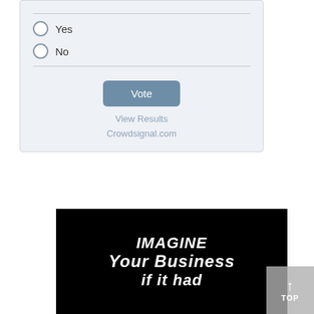[Figure (screenshot): Crowdsignal poll widget showing Yes/No radio options, a Vote button, View Results link, and Crowdsignal.com attribution on a light blue-grey background.]
[Figure (illustration): Black banner image with bold white italic text reading 'IMAGINE Your Business if it had']
TOP